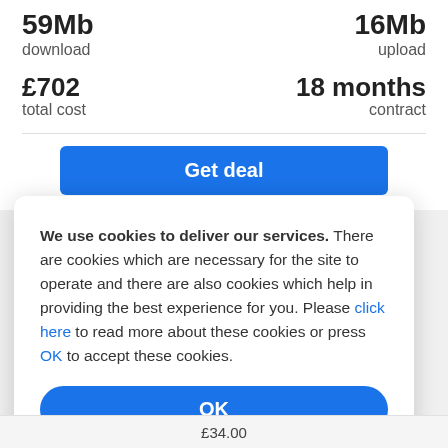59Mb download
16Mb upload
£702 total cost
18 months contract
Get deal
We use cookies to deliver our services. There are cookies which are necessary for the site to operate and there are also cookies which help in providing the best experience for you. Please click here to read more about these cookies or press OK to accept these cookies.
OK
£34.00